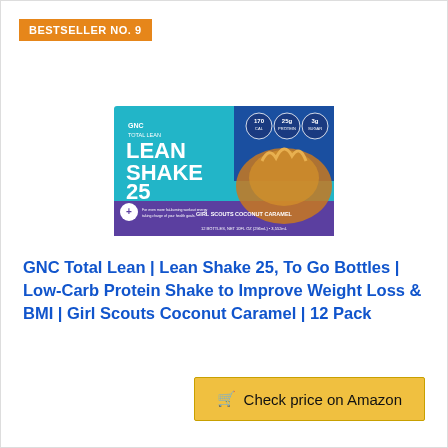BESTSELLER NO. 9
[Figure (photo): GNC Total Lean Lean Shake 25 product box - teal/blue and purple packaging with caramel splash image]
GNC Total Lean | Lean Shake 25, To Go Bottles | Low-Carb Protein Shake to Improve Weight Loss & BMI | Girl Scouts Coconut Caramel | 12 Pack
Check price on Amazon